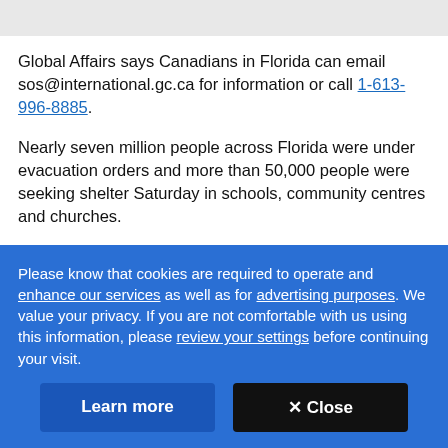Global Affairs says Canadians in Florida can email sos@international.gc.ca for information or call 1-613-996-8885.
Nearly seven million people across Florida were under evacuation orders and more than 50,000 people were seeking shelter Saturday in schools, community centres and churches.
Please know that cookies are required to operate and enhance our services as well as for advertising purposes. We value your privacy. If you are not comfortable with us using this information, please review your settings before continuing your visit.